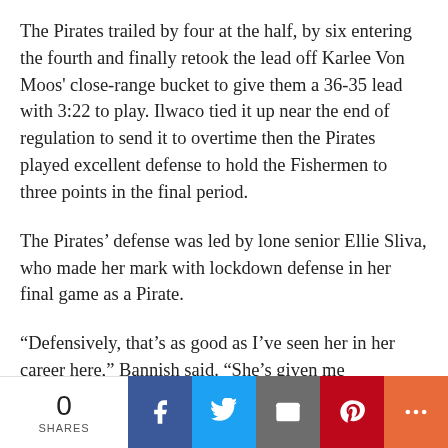The Pirates trailed by four at the half, by six entering the fourth and finally retook the lead off Karlee Von Moos' close-range bucket to give them a 36-35 lead with 3:22 to play. Ilwaco tied it up near the end of regulation to send it to overtime then the Pirates played excellent defense to hold the Fishermen to three points in the final period.
The Pirates' defense was led by lone senior Ellie Sliva, who made her mark with lockdown defense in her final game as a Pirate.
“Defensively, that’s as good as I’ve seen her in her career here,” Bannish said. “She’s given me everything and it comes down to senior leadership. This was a weird year and she was great for us.”
Wellander led the offense with 13 points on 5-for-11 shooting, while Von Moos added nine points and a game-
0 SHARES | Facebook | Twitter | Email | Pinterest | More